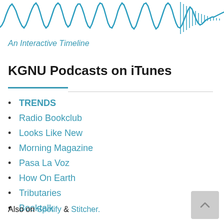[Figure (illustration): Blue audio waveform / sound wave graphic at the top of the page]
An Interactive Timeline
KGNU Podcasts on iTunes
TRENDS
Radio Bookclub
Looks Like New
Morning Magazine
Pasa La Voz
How On Earth
Tributaries
Booktalk
Also on Spotify & Stitcher.